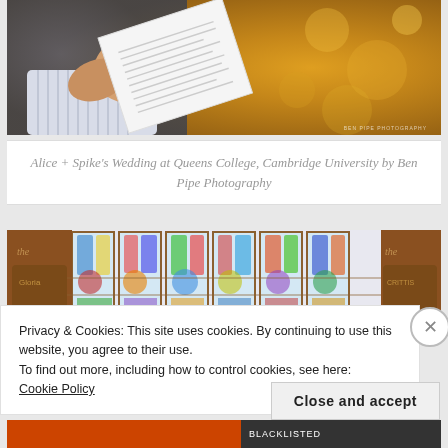[Figure (photo): Close-up photograph of hands holding a white paper/booklet, person wearing striped blue shirt, warm golden bokeh background. Watermark: BEN PIPE PHOTOGRAPHY]
Alice + Spike's Wedding at Queens College, Cambridge University by Ben Pipe Photography
[Figure (photo): Wide photograph of ornate stained glass windows in a chapel or college hall, with decorative stonework and colourful religious imagery]
Privacy & Cookies: This site uses cookies. By continuing to use this website, you agree to their use.
To find out more, including how to control cookies, see here:
Cookie Policy
Close and accept